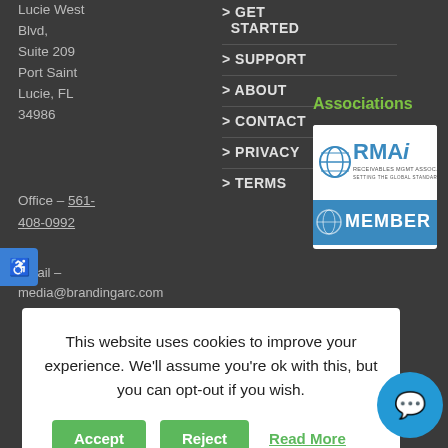Lucie West Blvd, Suite 209 Port Saint Lucie, FL 34986
Office – 561-408-0992
Email – media@brandingarc.com
> GET STARTED
> SUPPORT
> ABOUT
> CONTACT
> PRIVACY
> TERMS
Associations
[Figure (logo): RMAi Member badge - blue and white logo with globe icon and text SETTING THE GLOBAL STANDARD, with blue MEMBER bar at bottom]
This website uses cookies to improve your experience. We'll assume you're ok with this, but you can opt-out if you wish.
Accept   Reject   Read More
| All Rig
randing A